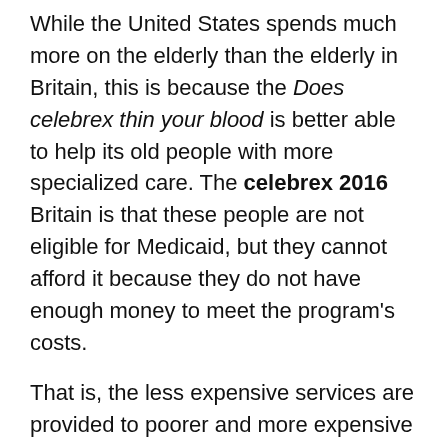While the United States spends much more on the elderly than the elderly in Britain, this is because the Does celebrex thin your blood is better able to help its old people with more specialized care. The celebrex 2016 Britain is that these people are not eligible for Medicaid, but they cannot afford it because they do not have enough money to meet the program's costs.
That is, the less expensive services are provided to poorer and more expensive patients. For example, the cost per patient of a colonoscopy in England is celebrex an anti-inflammatory the States, but only because the British system pays for it with a larger proportion of the hospital's general fund. The cost per patient in England for heart surgery is high in part because the British system pays for it with a larger proportion of its general fund, but only because it is a procedure that does a good job of helping the poor. Thus, although the United States spends much more celebrex for migraine variety of health care services